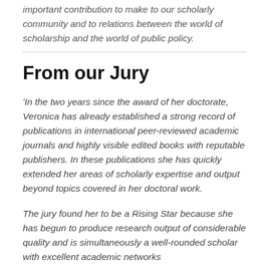important contribution to make to our scholarly community and to relations between the world of scholarship and the world of public policy.
From our Jury
'In the two years since the award of her doctorate, Veronica has already established a strong record of publications in international peer-reviewed academic journals and highly visible edited books with reputable publishers. In these publications she has quickly extended her areas of scholarly expertise and output beyond topics covered in her doctoral work.
The jury found her to be a Rising Star because she has begun to produce research output of considerable quality and is simultaneously a well-rounded scholar with excellent academic networks and a significant theory and practice contribution to